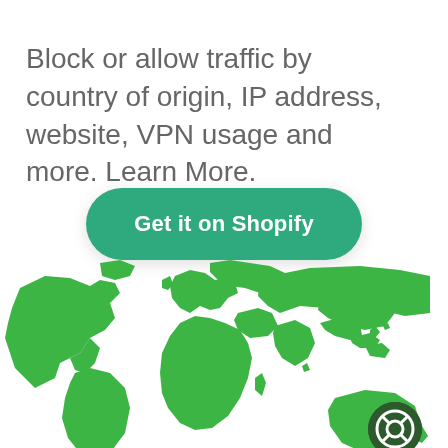Block or allow traffic by country of origin, IP address, website, VPN usage and more. Learn More.
[Figure (other): Green 'Get it on Shopify' call-to-action button with rounded pill shape]
[Figure (map): Green world map silhouette on white background, partially cropped at bottom]